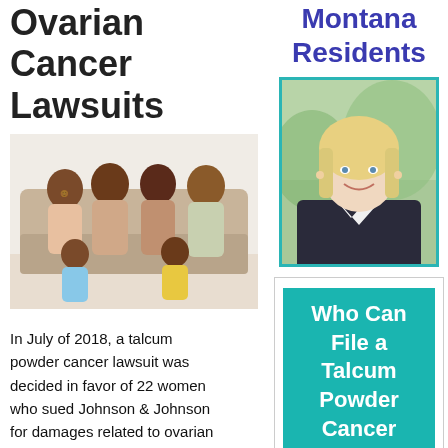Ovarian Cancer Lawsuits
[Figure (photo): Family group photo — multi-generational African American family smiling together on a sofa]
In July of 2018, a talcum powder cancer lawsuit was decided in favor of 22 women who sued Johnson & Johnson for damages related to ovarian cancer. While this wasn't the first talcum powder cancer lawsuit decided in favor of...
Montana Residents
[Figure (photo): Portrait of a blonde professional woman in a dark blazer, smiling, with green blurred background]
Who Can File a Talcum Powder Cancer Lawsuit?